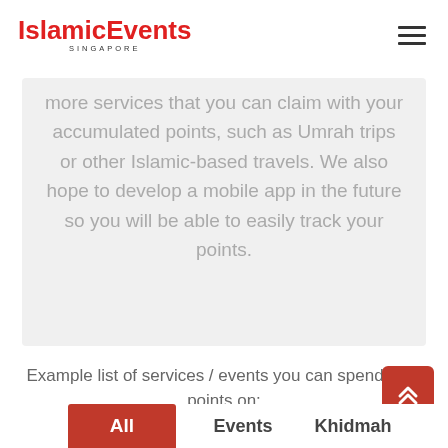IslamicEvents SINGAPORE
more services that you can claim with your accumulated points, such as Umrah trips or other Islamic-based travels. We also hope to develop a mobile app in the future so you will be able to easily track your points.
Example list of services / events you can spend your points on:
All
Events
Khidmah